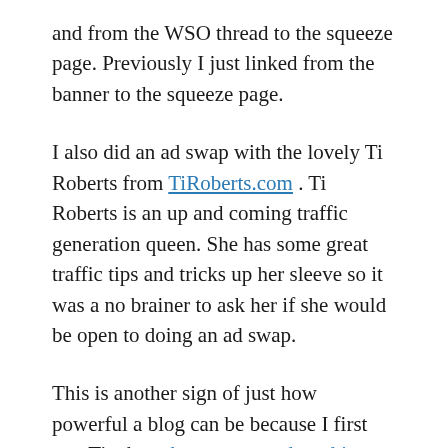and from the WSO thread to the squeeze page. Previously I just linked from the banner to the squeeze page.
I also did an ad swap with the lovely Ti Roberts from TiRoberts.com . Ti Roberts is an up and coming traffic generation queen. She has some great traffic tips and tricks up her sleeve so it was a no brainer to ask her if she would be open to doing an ad swap.
This is another sign of just how powerful a blog can be because I first met Ti when she commented on this Update video here . From there I popped over to her blog and saw she had some great content. So I messaged her on